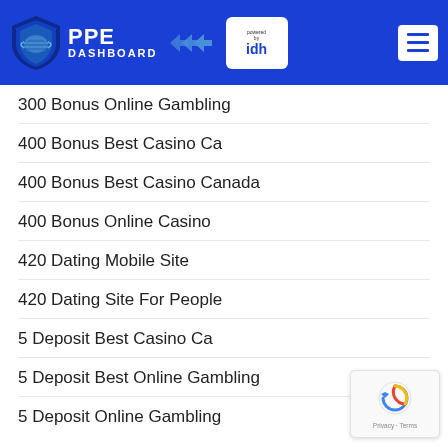PPE DASHBOARD powered by idh
300 Bonus Online Gambling
400 Bonus Best Casino Ca
400 Bonus Best Casino Canada
400 Bonus Online Casino
420 Dating Mobile Site
420 Dating Site For People
5 Deposit Best Casino Ca
5 Deposit Best Online Gambling
5 Deposit Online Gambling